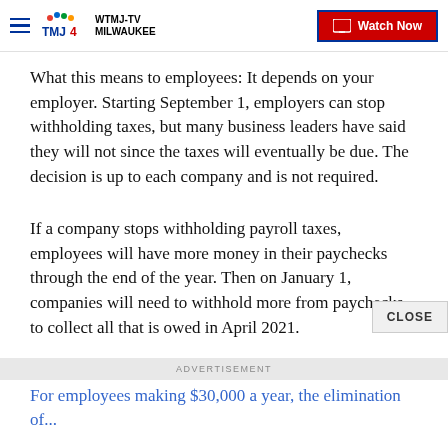WTMJ-TV MILWAUKEE | Watch Now
What this means to employees: It depends on your employer. Starting September 1, employers can stop withholding taxes, but many business leaders have said they will not since the taxes will eventually be due. The decision is up to each company and is not required.
If a company stops withholding payroll taxes, employees will have more money in their paychecks through the end of the year. Then on January 1, companies will need to withhold more from paychecks to collect all that is owed in April 2021.
For employees making $30,000 a year, the elimination of...